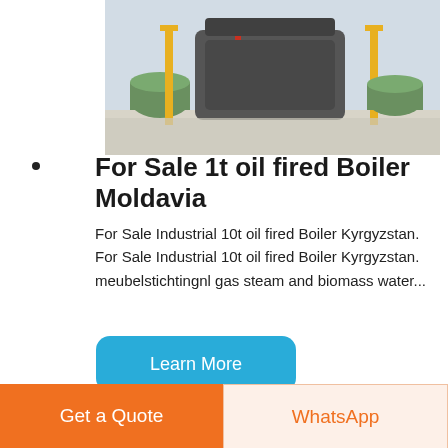[Figure (photo): Industrial boilers on a factory floor, with yellow and green equipment visible]
For Sale 1t oil fired Boiler Moldavia
For Sale Industrial 10t oil fired Boiler Kyrgyzstan. For Sale Industrial 10t oil fired Boiler Kyrgyzstan. meubelstichtingnl gas steam and biomass water...
Learn More
[Figure (photo): Large industrial boiler unit with corrugated metal casing in a factory, yellow pipe visible, Chinese signage on the boiler]
Get a Quote
WhatsApp